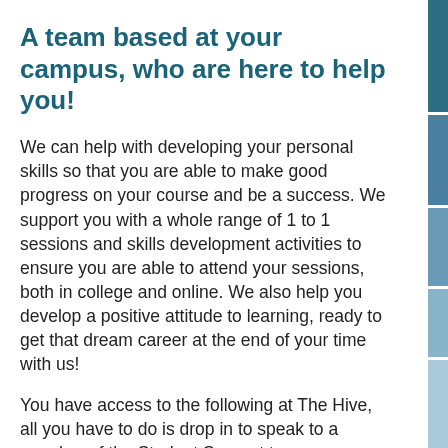A team based at your campus, who are here to help you!
We can help with developing your personal skills so that you are able to make good progress on your course and be a success. We support you with a whole range of 1 to 1 sessions and skills development activities to ensure you are able to attend your sessions, both in college and online. We also help you develop a positive attitude to learning, ready to get that dream career at the end of your time with us!
You have access to the following at The Hive, all you have to do is drop in to speak to a member of the Student Support team:
Mentor sessions
Small bespoke group sessions on key topics
On line support sessions/webinars
Coaching techniques